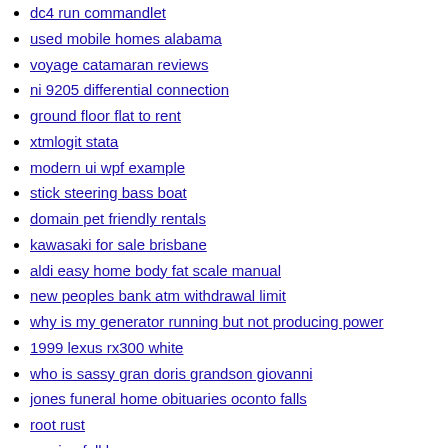dc4 run commandlet
used mobile homes alabama
voyage catamaran reviews
ni 9205 differential connection
ground floor flat to rent
xtmlogit stata
modern ui wpf example
stick steering bass boat
domain pet friendly rentals
kawasaki for sale brisbane
aldi easy home body fat scale manual
new peoples bank atm withdrawal limit
why is my generator running but not producing power
1999 lexus rx300 white
who is sassy gran doris grandson giovanni
jones funeral home obituaries oconto falls
root rust
russian folklore names
infiniti fx35 engine
chihuahuas for sale dc
how to turn off boss audio system
rwby watches jaune and velvet fanfiction
greenlee conduit bending handbook pdf
wiring a servo
control 4k settings
every march calculator